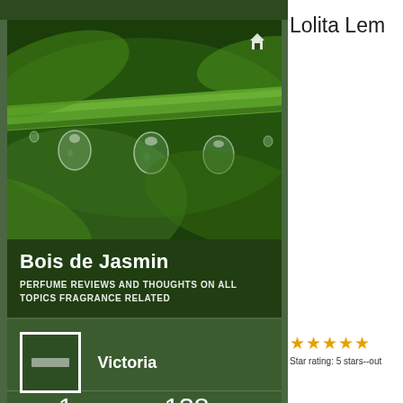[Figure (photo): Close-up photo of a green plant stem with water droplets hanging from it, on a dark green background]
Bois de Jasmin
PERFUME REVIEWS AND THOUGHTS ON ALL TOPICS FRAGRANCE RELATED
[Figure (photo): Profile avatar placeholder - green square with white border and horizontal bar]
Victoria
1
FOLLOWING
138
FOLLOWERS
Lolita Lem
Star rating: 5 stars--out
[Figure (other): Five gold star rating icons]